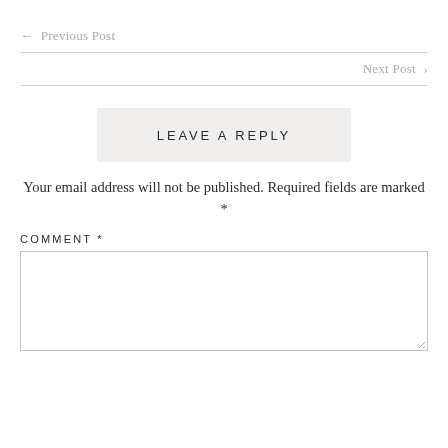← Previous Post
Next Post ›
LEAVE A REPLY
Your email address will not be published. Required fields are marked *
COMMENT *